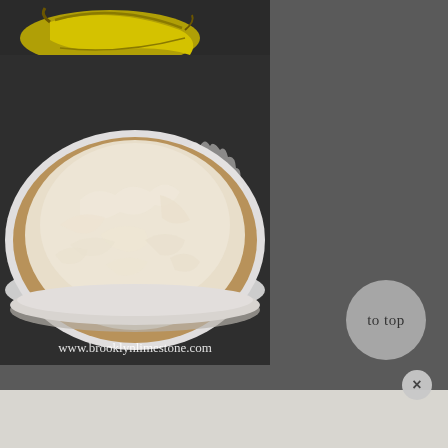[Figure (photo): A banana cream pie in a white ceramic pie dish with ruffled edges, topped with swirls of whipped cream. Two yellow bananas are visible in the background on a dark stone surface. A watermark reads www.brooklynlimestone.com at the bottom of the image.]
to top
×